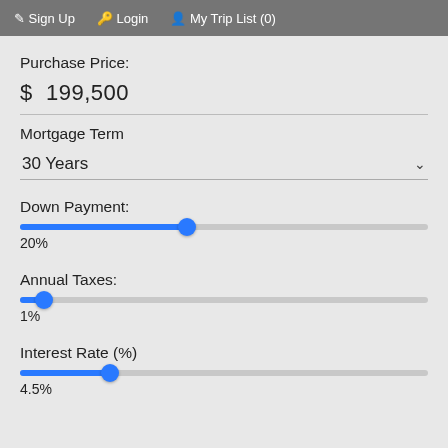Sign Up  Login  My Trip List (0)
Purchase Price:
$ 199,500
Mortgage Term
30 Years
Down Payment:
20%
Annual Taxes:
1%
Interest Rate (%)
4.5%